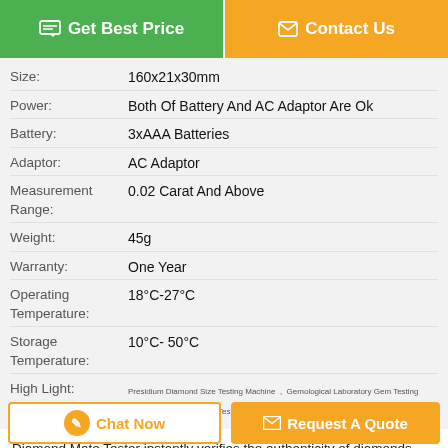[Figure (other): Get Best Price green button]
[Figure (other): Contact Us orange button]
| Attribute | Value |
| --- | --- |
| Size: | 160x21x30mm |
| Power: | Both Of Battery And AC Adaptor Are Ok |
| Battery: | 3xAAA Batteries |
| Adaptor: | AC Adaptor |
| Measurement Range: | 0.02 Carat And Above |
| Weight: | 45g |
| Warranty: | One Year |
| Operating Temperature: | 18°C-27°C |
| Storage Temperature: | 10°C- 50°C |
| High Light: | Presidium Diamond Size Testing Machine, Gemological Laboratory Gem Testing Machine, Jewelry Gem Testing Instrument |
Diamond Mate Tester instantly verifies the authenticity of diamonds based on their thermal properties Model Number: PDMT-A Description: The Presidium Diamond Mate Tester...
[Figure (other): Chat Now button]
[Figure (other): Request A Quote orange button]